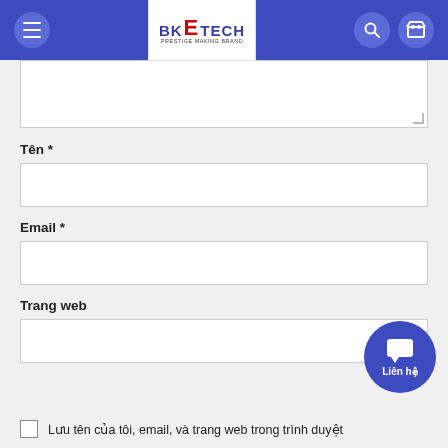[Figure (screenshot): Website header with blue background, hamburger menu button on left, BK E-TECH logo in center, search and cart icon buttons on right]
Tên *
Email *
Trang web
Liên hệ
Lưu tên của tôi, email, và trang web trong trình duyệt